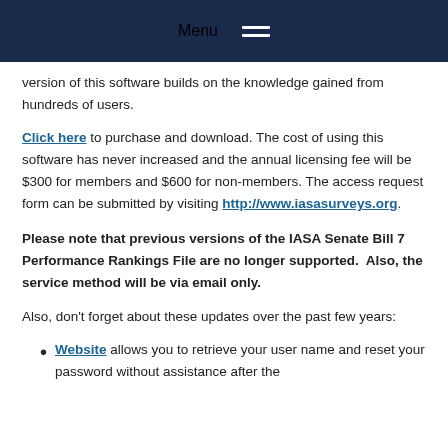Menu
version of this software builds on the knowledge gained from hundreds of users.
Click here to purchase and download. The cost of using this software has never increased and the annual licensing fee will be $300 for members and $600 for non-members. The access request form can be submitted by visiting http://www.iasasurveys.org.
Please note that previous versions of the IASA Senate Bill 7 Performance Rankings File are no longer supported.  Also, the service method will be via email only.
Also, don't forget about these updates over the past few years:
Website allows you to retrieve your user name and reset your password without assistance after the